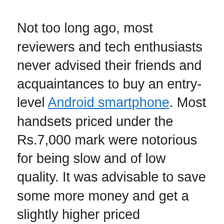Not too long ago, most reviewers and tech enthusiasts never advised their friends and acquaintances to buy an entry-level Android smartphone. Most handsets priced under the Rs.7,000 mark were notorious for being slow and of low quality. It was advisable to save some more money and get a slightly higher priced